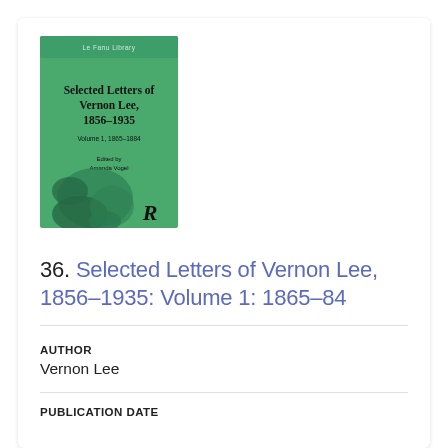[Figure (illustration): Book cover of 'Selected Letters of Vernon Lee, 1856–1935, Volume 1: 1865–1884', green cover with floral decoration and Routledge 'R' logo]
36. Selected Letters of Vernon Lee, 1856–1935: Volume 1: 1865–84
AUTHOR
Vernon Lee
PUBLICATION DATE